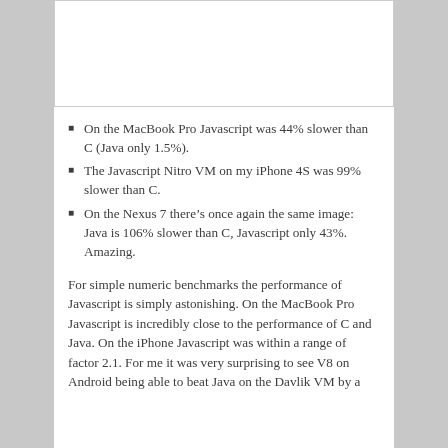[Figure (other): Blank white image placeholder area at top of page]
On the MacBook Pro Javascript was 44% slower than C (Java only 1.5%).
The Javascript Nitro VM on my iPhone 4S was 99% slower than C.
On the Nexus 7 there’s once again the same image: Java is 106% slower than C, Javascript only 43%. Amazing.
For simple numeric benchmarks the performance of Javascript is simply astonishing. On the MacBook Pro Javascript is incredibly close to the performance of C and Java. On the iPhone Javascript was within a range of factor 2.1. For me it was very surprising to see V8 on Android being able to beat Java on the Davlik VM by a